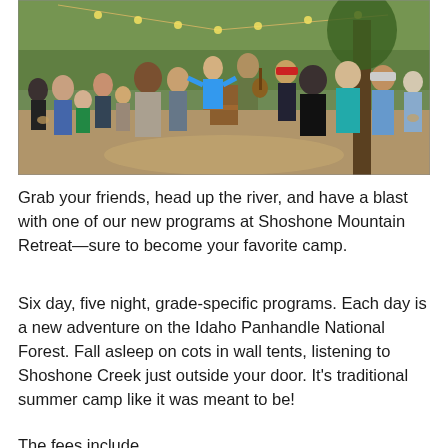[Figure (photo): Outdoor camp gathering at Shoshone Mountain Retreat. Children and adults stand in a clearing in the forest, some clapping and singing, while two people at the front appear to be leading activities — one speaking and one playing a guitar. Warm string lights hang from trees overhead.]
Grab your friends, head up the river, and have a blast with one of our new programs at Shoshone Mountain Retreat—sure to become your favorite camp.
Six day, five night, grade-specific programs. Each day is a new adventure on the Idaho Panhandle National Forest. Fall asleep on cots in wall tents, listening to Shoshone Creek just outside your door. It's traditional summer camp like it was meant to be!
The fees include...